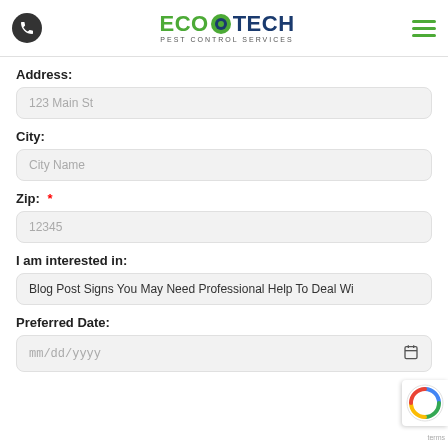EcoTech Pest Control Services - navigation header
Address:
123 Main St
City:
City Name
Zip: *
12345
I am interested in:
Blog Post Signs You May Need Professional Help To Deal Wi
Preferred Date:
mm/dd/yyyy